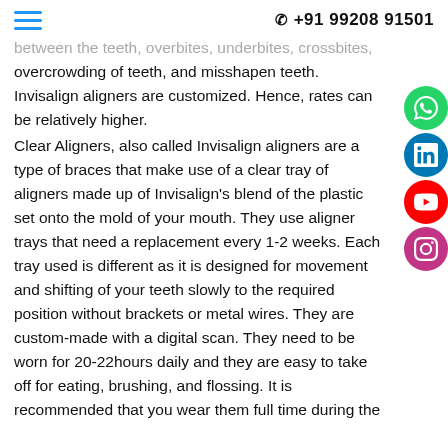+91 99208 91501
between the teeth, overbites, underbites, crossbites, overcrowding of teeth, and misshapen teeth. Invisalign aligners are customized. Hence, rates can be relatively higher.
Clear Aligners, also called Invisalign aligners are a type of braces that make use of a clear tray of aligners made up of Invisalign's blend of the plastic set onto the mold of your mouth. They use aligner trays that need a replacement every 1-2 weeks. Each tray used is different as it is designed for movement and shifting of your teeth slowly to the required position without brackets or metal wires. They are custom-made with a digital scan. They need to be worn for 20-22hours daily and they are easy to take off for eating, brushing, and flossing. It is recommended that you wear them full time during the